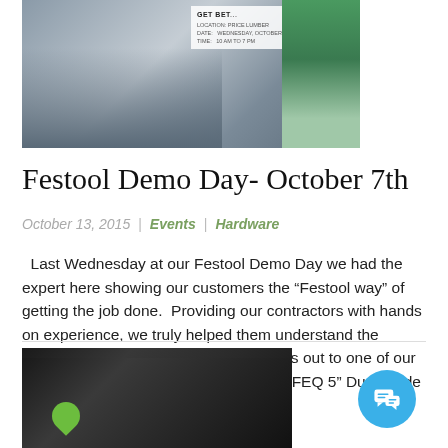[Figure (photo): Photo from Festool Demo Day event showing people at a workstation with a banner sign reading GET BETTER and Festool storage boxes (green/grey) on the right]
Festool Demo Day- October 7th
October 13, 2015  |  Events  |  Hardware
Last Wednesday at our Festool Demo Day we had the expert here showing our customers the “Festool way” of getting the job done.  Providing our contractors with hands on experience, we truly helped them understand the quality of Festool.  Congratulations goes out to one of our lucky contractors who won the RO 125 FEQ 5” Dual Mode Sander.
[Figure (photo): Close-up photo of a hand holding a Festool power tool (sander) with green accent, dark background]